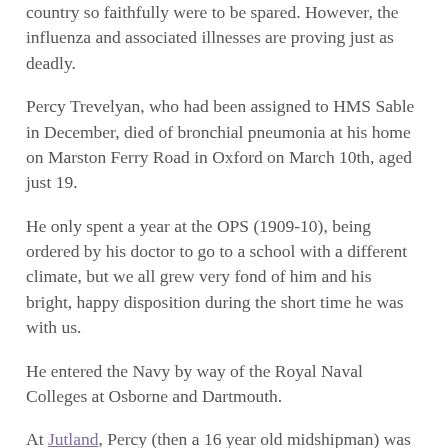country so faithfully were to be spared. However, the influenza and associated illnesses are proving just as deadly.
Percy Trevelyan, who had been assigned to HMS Sable in December, died of bronchial pneumonia at his home on Marston Ferry Road in Oxford on March 10th, aged just 19.
He only spent a year at the OPS (1909-10), being ordered by his doctor to go to a school with a different climate, but we all grew very fond of him and his bright, happy disposition during the short time he was with us.
He entered the Navy by way of the Royal Naval Colleges at Osborne and Dartmouth.
At Jutland, Percy (then a 16 year old midshipman) was in the thick of the fighting, being on the battleship HMS